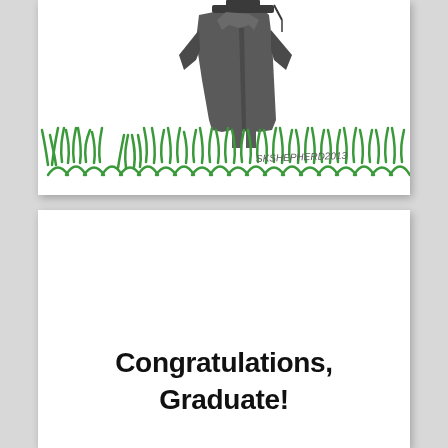[Figure (illustration): Hand-drawn illustration of a figure wearing a dark graduation gown and cap, standing in green grass. The artist signature 'SKSHEPHERD2013' appears in the grass area.]
Congratulations,
Graduate!